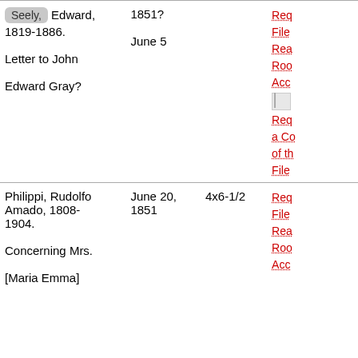| Name/Description | Date | Size | Actions |
| --- | --- | --- | --- |
| Seely, Edward, 1819-1886.
Letter to John Edward Gray? | 1851?
June 5 |  | Req
File
Rea
Roo
Acc
[icon]
Req
a Co
of th
File |
| Philippi, Rudolfo Amado, 1808-1904.
Concerning Mrs.
[Maria Emma] | June 20, 1851 | 4x6-1/2 | Req
File
Rea
Roo
Acc |